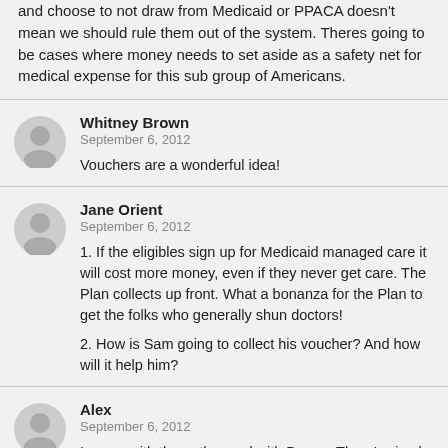and choose to not draw from Medicaid or PPACA doesn't mean we should rule them out of the system. Theres going to be cases where money needs to set aside as a safety net for medical expense for this sub group of Americans.
Whitney Brown
September 6, 2012
Vouchers are a wonderful idea!
Jane Orient
September 6, 2012
1. If the eligibles sign up for Medicaid managed care it will cost more money, even if they never get care. The Plan collects up front. What a bonanza for the Plan to get the folks who generally shun doctors!
2. How is Sam going to collect his voucher? And how will it help him?
Alex
September 6, 2012
I agree with the author and with Devon. There's simply no